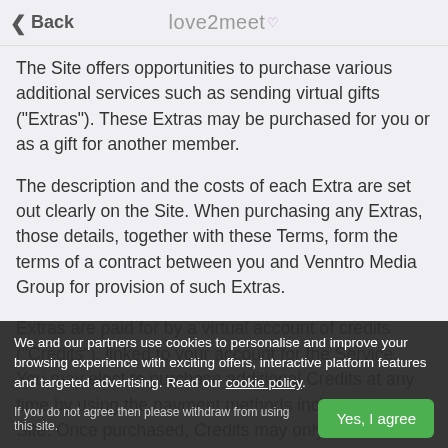Back | love2meet
The Site offers opportunities to purchase various additional services such as sending virtual gifts ("Extras"). These Extras may be purchased for you or as a gift for another member.
The description and the costs of each Extra are set out clearly on the Site. When purchasing any Extras, those details, together with these Terms, form the terms of a contract between you and Venntro Media Group for provision of such Extras.
Extras are paid for by a virtual account of credits ("Credits"), linked to your account for the Service. You may elect to purchase additional Credits at any time by using the payment methods included on the Site. Once purchased, Credits may only be used for purchasing Extras and are not refundable in any circumstance.
We and our partners use cookies to personalise and improve your browsing experience with exciting offers, interactive platform features and targeted advertising. Read our cookie policy. If you do not agree then please withdraw from using this site.
Yes, I agree